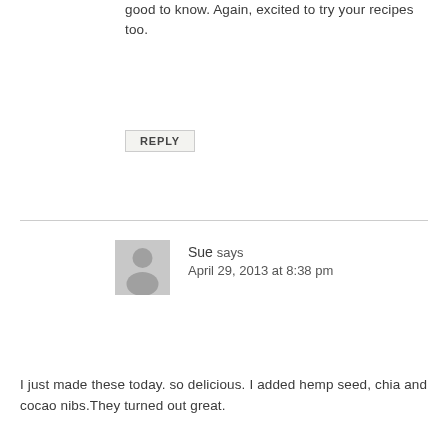good to know. Again, excited to try your recipes too.
REPLY
Sue says
April 29, 2013 at 8:38 pm
I just made these today. so delicious. I added hemp seed, chia and cocao nibs.They turned out great.
REPLY